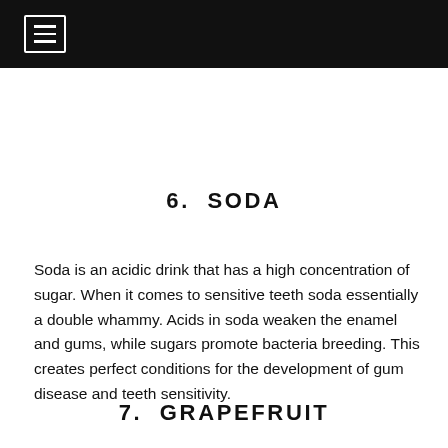≡
6.  SODA
Soda is an acidic drink that has a high concentration of sugar. When it comes to sensitive teeth soda essentially a double whammy. Acids in soda weaken the enamel and gums, while sugars promote bacteria breeding. This creates perfect conditions for the development of gum disease and teeth sensitivity.
7.  GRAPEFRUIT